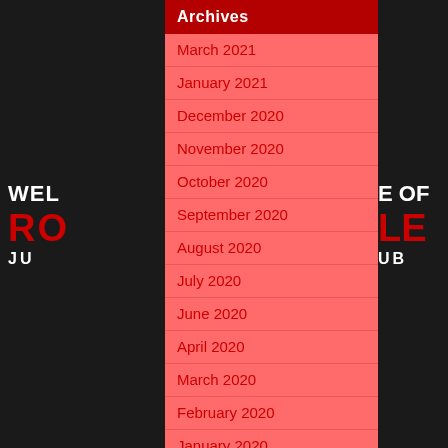Archives
March 2021
January 2021
December 2020
November 2020
October 2020
September 2020
August 2020
July 2020
June 2020
April 2020
March 2020
February 2020
January 2020
December 2019